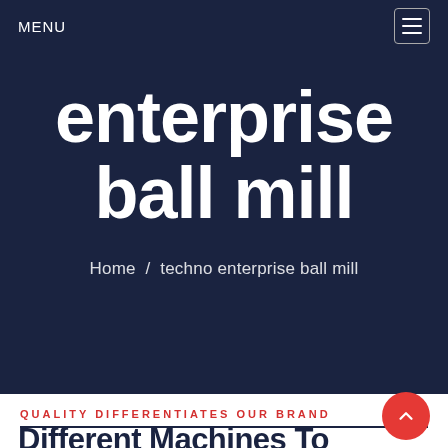MENU
enterprise ball mill
Home / techno enterprise ball mill
QUALITY DIFFERENTIATES OUR BRAND
Different Machines To